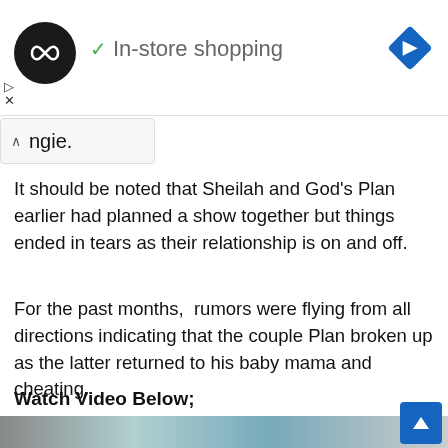[Figure (screenshot): Ad banner showing a black circular logo with infinity-like symbol, a green checkmark with 'In-store shopping' text, and a blue diamond navigation icon on the right]
ngle.
It should be noted that Sheilah and God’s Plan earlier had planned a show together but things ended in tears as their relationship is on and off.
For the past months,  rumors were flying from all directions indicating that the couple Plan broken up as the latter returned to his baby mama and cheating.
Watch Video Below;
[Figure (screenshot): Video thumbnail showing a woman with curly hair and a man in a bright setting]